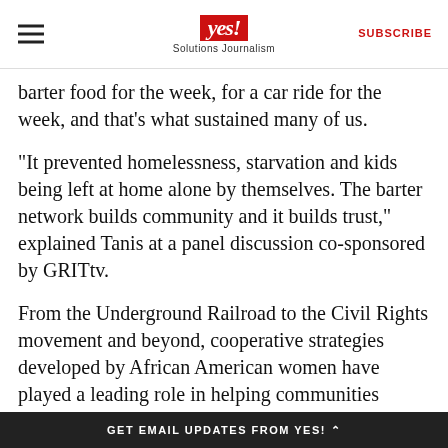yes! Solutions Journalism | SUBSCRIBE
barter food for the week, for a car ride for the week, and that's what sustained many of us.
“It prevented homelessness, starvation and kids being left at home alone by themselves. The barter network builds community and it builds trust,” explained Tanis at a panel discussion co-sponsored by GRITtv.
From the Underground Railroad to the Civil Rights movement and beyond, cooperative strategies developed by African American women have played a leading role in helping communities survive hard times, said author, economist Jessica Gordon Nembhard, author of Collective Courage, a History of African American Cooperative
GET EMAIL UPDATES FROM YES! ‸